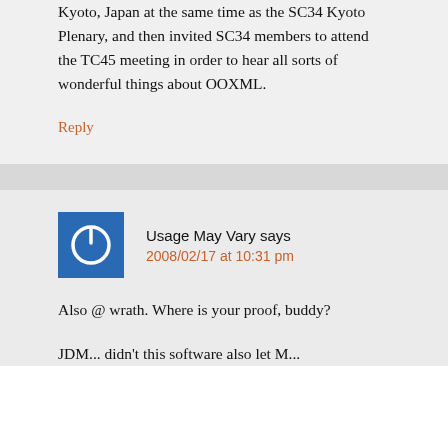Kyoto, Japan at the same time as the SC34 Kyoto Plenary, and then invited SC34 members to attend the TC45 meeting in order to hear all sorts of wonderful things about OOXML.
Reply
Usage May Vary says 2008/02/17 at 10:31 pm
Also @ wrath. Where is your proof, buddy?
JDM... didn't this software also let M...